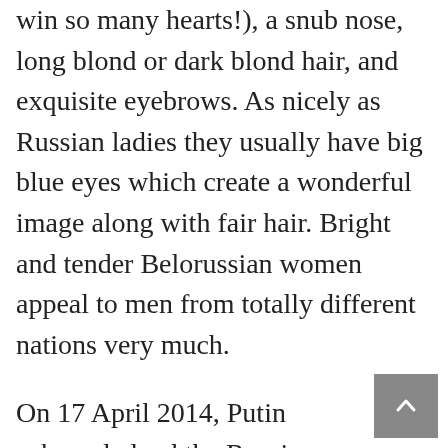win so many hearts!), a snub nose, long blond or dark blond hair, and exquisite eyebrows. As nicely as Russian ladies they usually have big blue eyes which create a wonderful image along with fair hair. Bright and tender Belorussian women appeal to men from totally different nations very much.
On 17 April 2014, Putin acknowledged the Russian army backed Crimean separatist militias, stating that Russia's intervention was needed “to ensure correct situations for the folks of Crimea to be able to freely categorical their will”. Defence Minister Sergey Shoygu said the country's military